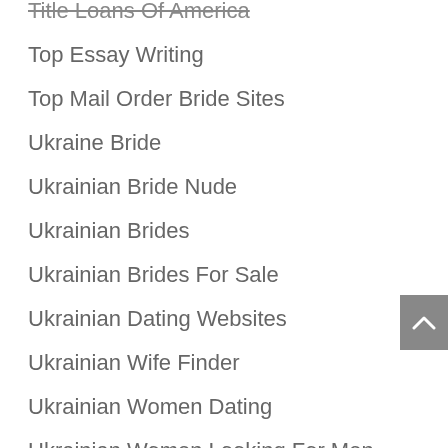Title Loans Of America
Top Essay Writing
Top Mail Order Bride Sites
Ukraine Bride
Ukrainian Bride Nude
Ukrainian Brides
Ukrainian Brides For Sale
Ukrainian Dating Websites
Ukrainian Wife Finder
Ukrainian Women Dating
Ukrainian Women Looking For Men
Uncategorized
What Is A Cbd Product
What Is The Definition Of A Noun